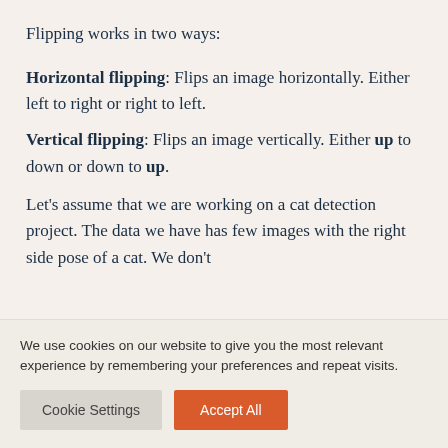Flipping works in two ways:
Horizontal flipping: Flips an image horizontally. Either left to right or right to left.
Vertical flipping: Flips an image vertically. Either up to down or down to up.
Let's assume that we are working on a cat detection project. The data we have has few images with the right side pose of a cat. We don't
We use cookies on our website to give you the most relevant experience by remembering your preferences and repeat visits.
Cookie Settings | Accept All